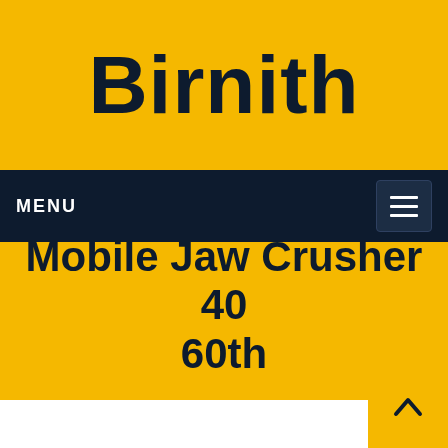Birnith
MENU
Mobile Jaw Crusher 40 60th
Home / Products